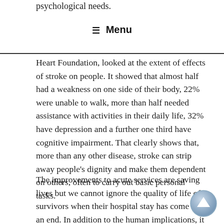psychological needs.
☰ Menu
Heart Foundation, looked at the extent of effects of stroke on people. It showed that almost half had a weakness on one side of their body, 22% were unable to walk, more than half needed assistance with activities in their daily life, 32% have depression and a further one third have cognitive impairment. That clearly shows that, more than any other disease, stroke can strip away people's dignity and make them dependent on others, often to carry out basic personal tasks.
The improvements to acute services are saving lives but we cannot ignore the quality of life of survivors when their hospital stay has come to an end. In addition to the human implications, it does not make economic sense. That is what surprised me when I looked at this issue